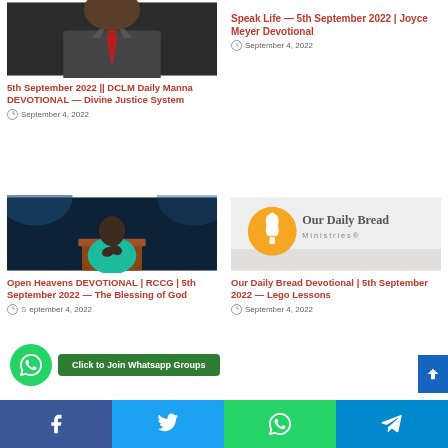[Figure (photo): Person in suit with red tie, cropped face, upper body visible]
5th September 2022 || DCLM Daily Manna DEVOTIONAL — Divine Justice System
September 4, 2022
Speak Life — 5th September 2022 | Joyce Meyer Devotional
September 4, 2022
[Figure (photo): Person in teal shirt praying at a podium on stage]
Open Heavens DEVOTIONAL | RCCG | 5th September 2022 — The Blessing of God
September 4, 2022
[Figure (logo): Our Daily Bread Ministries logo — orange wheat sheaf icon with grey text on light background]
Our Daily Bread Devotional | 5th September 2022 — Lego Lessons
September 4, 2022